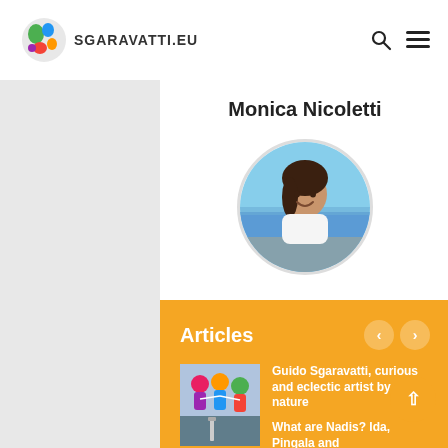SGARAVATTI.EU
Monica Nicoletti
[Figure (photo): Circular profile photo of Monica Nicoletti at the beach, smiling]
Articles
[Figure (illustration): Thumbnail illustration showing colorful figures of people]
Guido Sgaravatti, curious and eclectic artist by nature
2 months fa
[Figure (photo): Thumbnail photo for article about Nadis]
What are Nadis? Ida, Pingala and